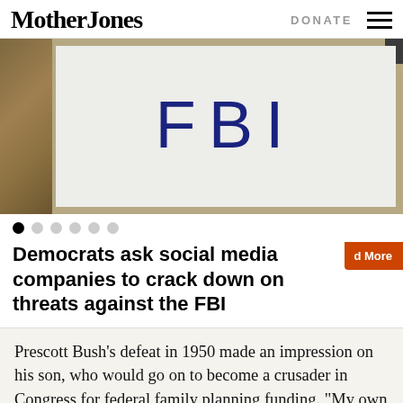Mother Jones | DONATE
[Figure (photo): A hand-written sign reading 'FBI' in large blue letters on a white background, held against a hay/straw bale background with a dark corner.]
Democrats ask social media companies to crack down on threats against the FBI
Prescott Bush's defeat in 1950 made an impression on his son, who would go on to become a crusader in Congress for federal family planning funding. "My own first awareness of birth control as a public